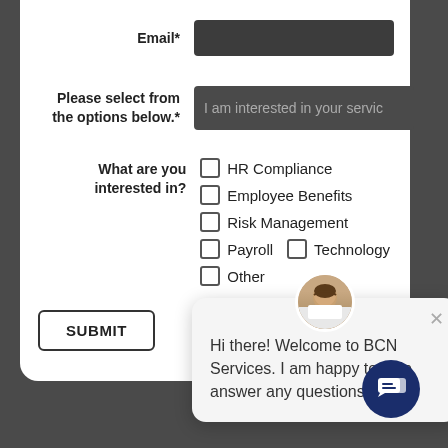Email*
Please select from the options below.*
I am interested in your servic
What are you interested in?
HR Compliance
Employee Benefits
Risk Management
Payroll
Technology
Other
SUBMIT
Hi there! Welcome to BCN Services. I am happy to help answer any questions.